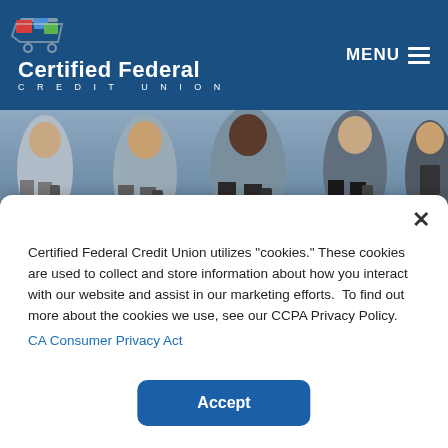[Figure (logo): Certified Federal Credit Union logo with shopping cart icon on dark blue header background]
[Figure (photo): People sitting and looking at their smartphones]
Certified Federal Credit Union utilizes "cookies." These cookies are used to collect and store information about how you interact with our website and assist in our marketing efforts.  To find out more about the cookies we use, see our CCPA Privacy Policy.
CA Consumer Privacy Act
Accept